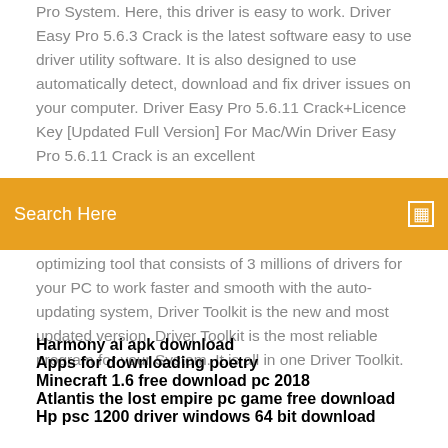...Pro System. Here, this driver is easy to work. Driver Easy Pro 5.6.3 Crack is the latest software easy to use driver utility software. It is also designed to use automatically detect, download and fix driver issues on your computer. Driver Easy Pro 5.6.11 Crack+Licence Key [Updated Full Version] For Mac/Win Driver Easy Pro 5.6.11 Crack is an excellent optimizing tool that consists of 3 millions of drivers for your PC to work faster and smooth with the auto-updating system, Driver Toolkit is the new and most updated version. Driver Toolkit is the most reliable program for your System. It is all in one Driver Toolkit.
Search Here
Harmony ai apk download
Apps for downloading poetry
Minecraft 1.6 free download pc 2018
Atlantis the lost empire pc game free download
Hp psc 1200 driver windows 64 bit download